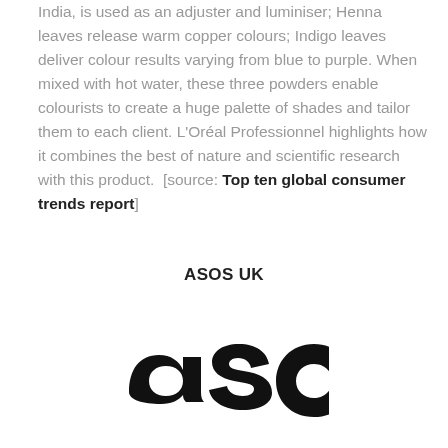India, is used as an adjuster and luminiser; Henna leaves release warm copper colours; Indigo leaves deliver colour results varying from blue to purple. When mixed with hot water, these three powders enable colourists to create a huge palette of shades and tailor them to each client. L'Oréal Professionnel highlights how it combines the best of nature and scientific research with this product.  [source: Top ten global consumer trends report]
ASOS UK
[Figure (logo): ASOS brand logo in bold black lowercase letters]